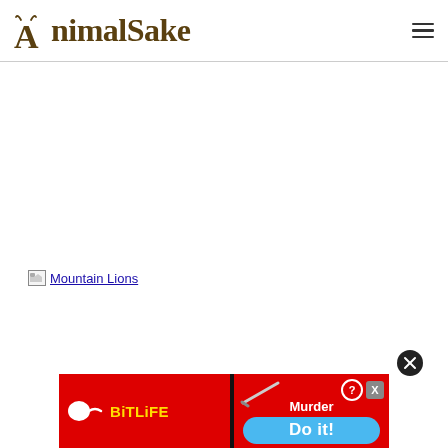AnimalSake
[Figure (other): Broken image placeholder link labeled 'Mountain Lions']
[Figure (other): BitLife advertisement banner with 'Murder - Do it!' call to action, with close button]